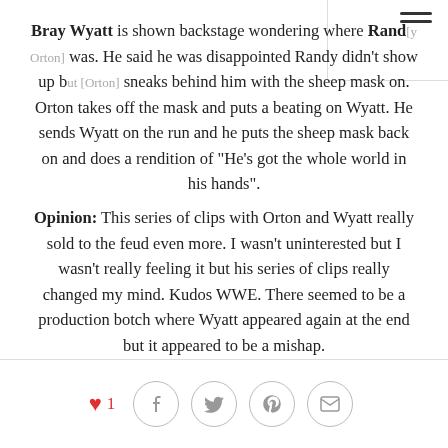Bray Wyatt is shown backstage wondering where Randy [Orton] was. He said he was disappointed Randy didn't show up but [Orton] sneaks behind him with the sheep mask on. Orton takes off the mask and puts a beating on Wyatt. He sends Wyatt on the run and he puts the sheep mask back on and does a rendition of "He's got the whole world in his hands".
Opinion: This series of clips with Orton and Wyatt really sold to the feud even more. I wasn't uninterested but I wasn't really feeling it but his series of clips really changed my mind. Kudos WWE. There seemed to be a production botch where Wyatt appeared again at the end but it appeared to be a mishap.
3) AJ Styles vs Dean Ambrose. WWE World Heavyweight Championship.
In a really, really (trust me, really) good match, AJ Styles defeated